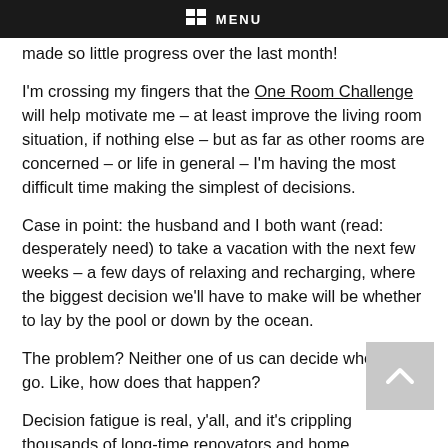MENU
made so little progress over the last month!
I'm crossing my fingers that the One Room Challenge will help motivate me – at least improve the living room situation, if nothing else – but as far as other rooms are concerned – or life in general – I'm having the most difficult time making the simplest of decisions.
Case in point: the husband and I both want (read: desperately need) to take a vacation with the next few weeks – a few days of relaxing and recharging, where the biggest decision we'll have to make will be whether to lay by the pool or down by the ocean.
The problem? Neither one of us can decide where to go. Like, how does that happen?
Decision fatigue is real, y'all, and it's crippling thousands of long-time renovators and home